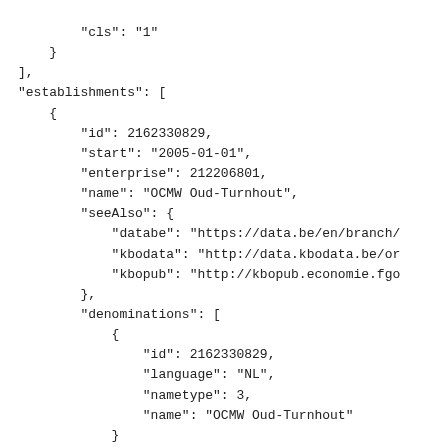"cls": "1"
    }
],
"establishments": [
    {
        "id": 2162330829,
        "start": "2005-01-01",
        "enterprise": 212206801,
        "name": "OCMW Oud-Turnhout",
        "seeAlso": {
            "databe": "https://data.be/en/branch/
            "kbodata": "http://data.kbodata.be/or
            "kbopub": "http://kbopub.economie.fgo
        },
        "denominations": [
            {
                "id": 2162330829,
                "language": "NL",
                "nametype": 3,
                "name": "OCMW Oud-Turnhout"
            }
        ],
        "contacts": [],
        "addresses": [
            {